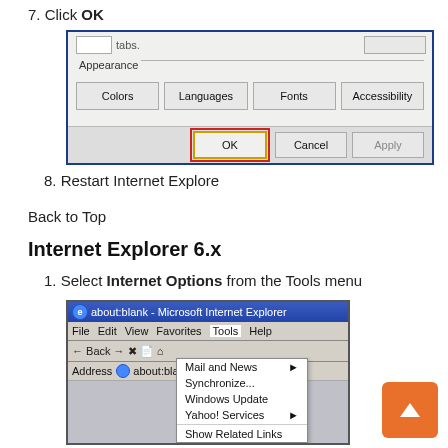7. Click OK
[Figure (screenshot): Internet Explorer dialog showing Appearance section with Colors, Languages, Fonts, Accessibility buttons, and OK button highlighted with red border]
8. Restart Internet Explore
Back to Top
Internet Explorer 6.x
1. Select Internet Options from the Tools menu
[Figure (screenshot): Internet Explorer 6 browser window with Tools menu open showing Mail and News, Synchronize, Windows Update, Yahoo! Services, Show Related Links options]